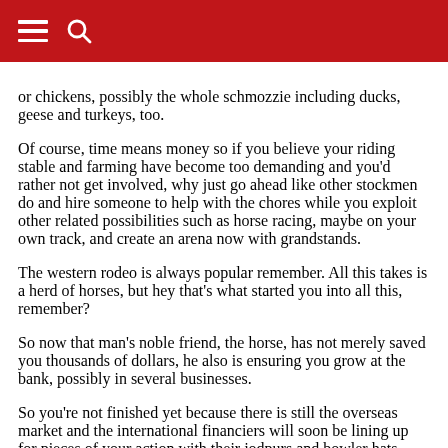[hamburger menu icon] [search icon]
or chickens, possibly the whole schmozzie including ducks, geese and turkeys, too.
Of course, time means money so if you believe your riding stable and farming have become too demanding and you'd rather not get involved, why just go ahead like other stockmen do and hire someone to help with the chores while you exploit other related possibilities such as horse racing, maybe on your own track, and create an arena now with grandstands.
The western rodeo is always popular remember. All this takes is a herd of horses, but hey that's what started you into all this, remember?
So now that man's noble friend, the horse, has not merely saved you thousands of dollars, he also is ensuring you grow at the bank, possibly in several businesses.
So you're not finished yet because there is still the overseas market and the international financiers will soon be lining up for pieces of your action with their jodpurs and bowler hats, trading their derbies for Stetsons like the rest of the cowboys where you come